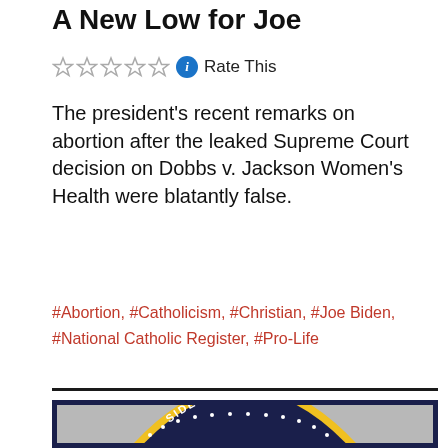A New Low for Joe
Rate This
The president's recent remarks on abortion after the leaked Supreme Court decision on Dobbs v. Jackson Women's Health were blatantly false.
#Abortion, #Catholicism, #Christian, #Joe Biden, #National Catholic Register, #Pro-Life
[Figure (photo): Presidential seal partially visible at bottom of image with dark navy border frame on grey background]